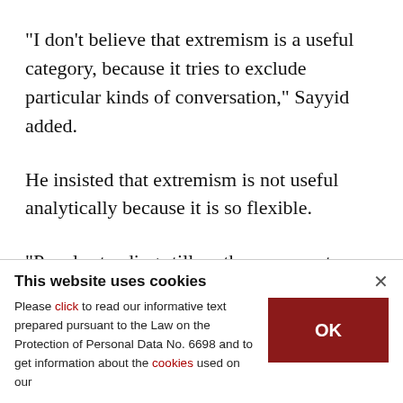"I don't believe that extremism is a useful category, because it tries to exclude particular kinds of conversation," Sayyid added.
He insisted that extremism is not useful analytically because it is so flexible.
"People standing still on the same spot can become extremists because the narrative around them
This website uses cookies
Please click to read our informative text prepared pursuant to the Law on the Protection of Personal Data No. 6698 and to get information about the cookies used on our